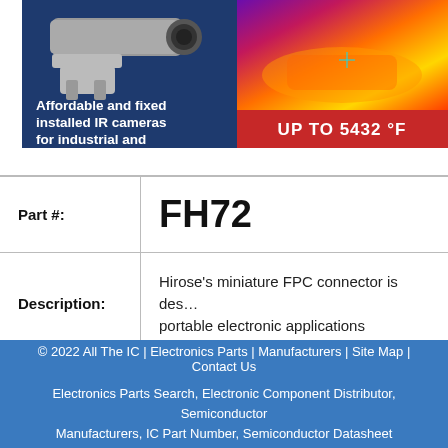[Figure (photo): Advertisement banner for affordable and fixed installed IR cameras for industrial and R&D applications, showing a camera device and thermal image of a car, with text 'Affordable and fixed installed IR cameras for industrial and R&D applications' and 'UP TO 5432 °F' on red bar]
| Part #: | FH72 |
| Description: | Hirose's miniature FPC connector is designed for portable electronic applications |
© 2022 All The IC | Electronics Parts | Manufacturers | Site Map | Contact Us
Electronics Parts Search, Electronic Component Distributor, Semiconductor Manufacturers, IC Part Number, Semiconductor Datasheet